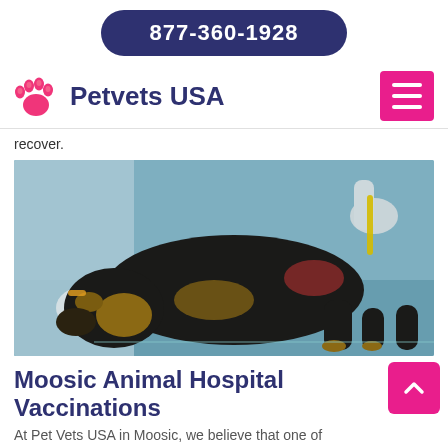877-360-1928
[Figure (logo): Petvets USA logo with pink paw print and dark navy text]
recover.
[Figure (photo): A black and tan dog lying on a veterinary examination table being treated by a vet in gloves]
Moosic Animal Hospital Vaccinations
At Pet Vets USA in Moosic, we believe that one of